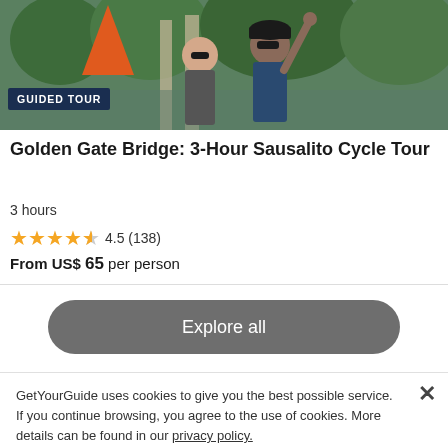[Figure (photo): Two people wearing sunglasses outdoors, with greenery and an orange triangular structure in the background. One person is pointing upward.]
GUIDED TOUR
Golden Gate Bridge: 3-Hour Sausalito Cycle Tour
3 hours
4.5 (138)
From US$ 65 per person
Explore all
GetYourGuide uses cookies to give you the best possible service. If you continue browsing, you agree to the use of cookies. More details can be found in our privacy policy.